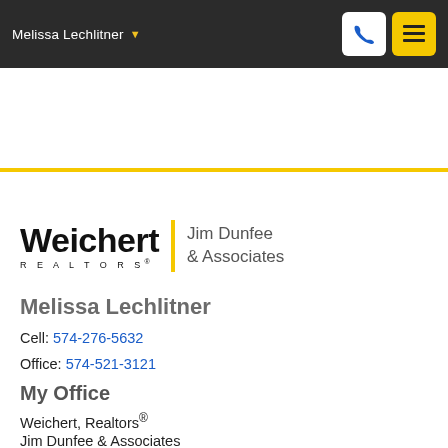Melissa Lechlitner
[Figure (logo): Weichert Realtors - Jim Dunfee & Associates logo with yellow vertical bar divider]
Melissa Lechlitner
Cell: 574-276-5632
Office: 574-521-3121
My Office
Weichert, Realtors®
Jim Dunfee & Associates